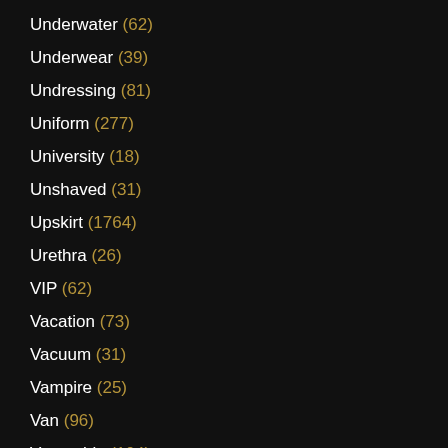Underwater (62)
Underwear (39)
Undressing (81)
Uniform (277)
University (18)
Unshaved (31)
Upskirt (1764)
Urethra (26)
VIP (62)
Vacation (73)
Vacuum (31)
Vampire (25)
Van (96)
Vegetable (104)
Vibrator (824)
Vintage (2779)